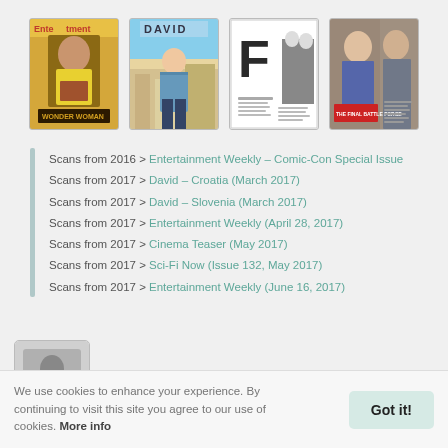[Figure (photo): Row of four magazine cover thumbnails: Entertainment Weekly Wonder Woman cover, a man in blue shirt (David Croatia), a magazine with large F letter, and a two-person movie feature spread.]
Scans from 2016 > Entertainment Weekly – Comic-Con Special Issue
Scans from 2017 > David – Croatia (March 2017)
Scans from 2017 > David – Slovenia (March 2017)
Scans from 2017 > Entertainment Weekly (April 28, 2017)
Scans from 2017 > Cinema Teaser (May 2017)
Scans from 2017 > Sci-Fi Now (Issue 132, May 2017)
Scans from 2017 > Entertainment Weekly (June 16, 2017)
[Figure (photo): Small black and white avatar thumbnail of a person in dark clothing.]
We use cookies to enhance your experience. By continuing to visit this site you agree to our use of cookies. More info